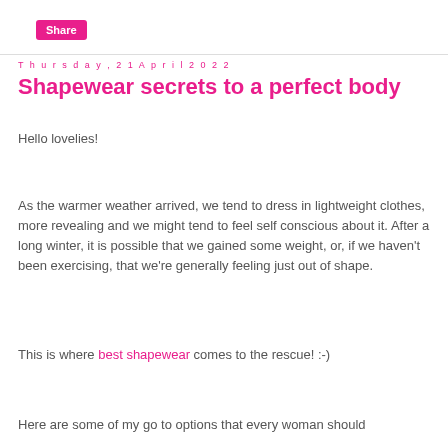Share
Thursday, 21 April 2022
Shapewear secrets to a perfect body
Hello lovelies!
As the warmer weather arrived, we tend to dress in lightweight clothes, more revealing and we might tend to feel self conscious about it. After a long winter, it is possible that we gained some weight, or, if we haven't been exercising, that we're generally feeling just out of shape.
This is where best shapewear comes to the rescue! :-)
Here are some of my go to options that every woman should